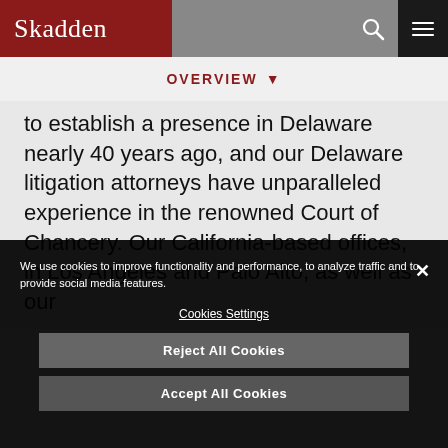Skadden
OVERVIEW
to establish a presence in Delaware nearly 40 years ago, and our Delaware litigation attorneys have unparalleled experience in the renowned Court of Chancery. Our California-based offices, in Los Angeles and Palo Alto, as well as our
We use cookies to improve functionality and performance, to analyze traffic and to provide social media features.
Cookies Settings
Reject All Cookies
Accept All Cookies